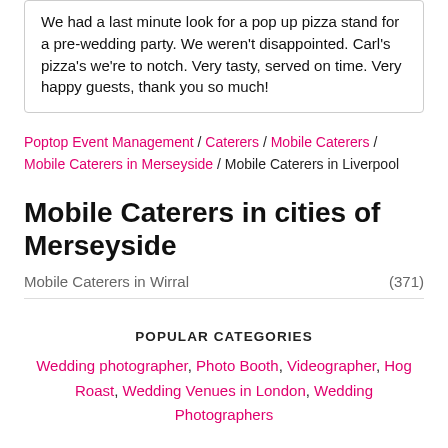We had a last minute look for a pop up pizza stand for a pre-wedding party. We weren't disappointed. Carl's pizza's we're to notch. Very tasty, served on time. Very happy guests, thank you so much!
Poptop Event Management / Caterers / Mobile Caterers / Mobile Caterers in Merseyside / Mobile Caterers in Liverpool
Mobile Caterers in cities of Merseyside
Mobile Caterers in Wirral (371)
POPULAR CATEGORIES
Wedding photographer, Photo Booth, Videographer, Hog Roast, Wedding Venues in London, Wedding Photographers